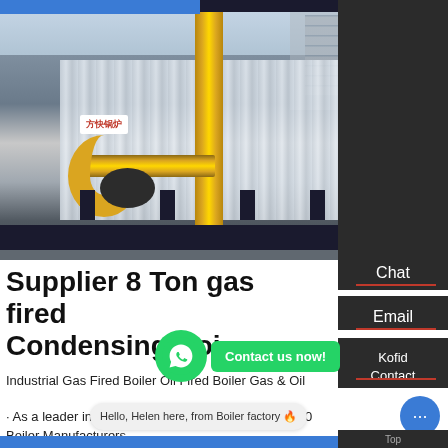[Figure (photo): Industrial gas fired condensing boiler with yellow piping, corrugated metal casing, and pump/motor assembly in factory setting]
Supplier 8 Ton gas fired Condensing Boiler Estonia
Industrial Gas Fired Boiler Oil Fired Boiler Gas & Oil Kofid · As a leader in industrial boiler manufacturers Top 10 Boiler Manufacturers · industrial and oil steam hot water 9.81MPa / 98.1bar industrial and oil steam hot water
Chat
Email
Kofid Contact
Contact us now!
Hello, Helen here, from Boiler factory 🔥